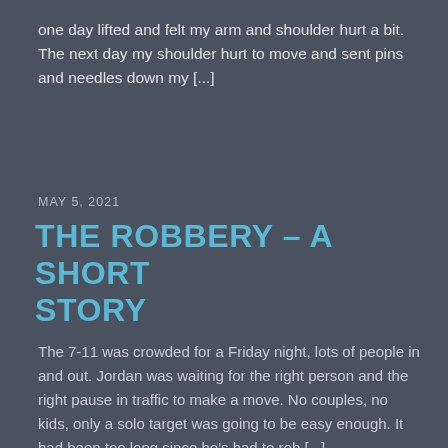one day lifted and felt my arm and shoulder hurt a bit. The next day my shoulder hurt to move and sent pins and needles down my [...]
MAY 5, 2021
THE ROBBERY – A SHORT STORY
The 7-11 was crowded for a Friday night, lots of people in and out. Jordan was waiting for the right person and the right pause in traffic to make a move. No couples, no kids, only a solo target was going to be easy enough. It had been too long since he's had to rob [...]